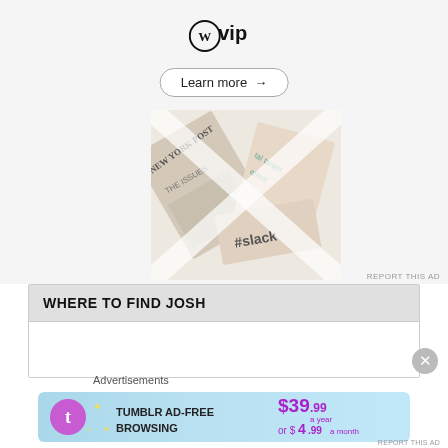[Figure (logo): WordPress VIP logo with circular W icon and 'vip' text, followed by a 'Learn more →' button on a light gray background with newspaper collage below]
REPORT THIS AD
WHERE TO FIND JOSH
Advertisements
[Figure (infographic): Tumblr Ad-Free Browsing advertisement: $39.99 a year or $4.99 a month, with Tumblr logo on blue gradient background]